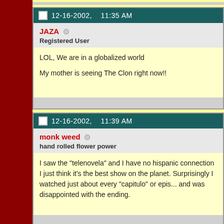12-16-2002, 11:35 AM
JAZA
Registered User
LOL, We are in a globalized world

My mother is seeing The Clon right now!!
12-16-2002, 11:39 AM
monk weed
hand rolled flower power
I saw the "telenovela" and I have no hispanic connection I just think it's the best show on the planet. Surprisingly I watched just about every "capitulo" or epis... and was disappointed with the ending.
12-16-2002, 11:43 AM